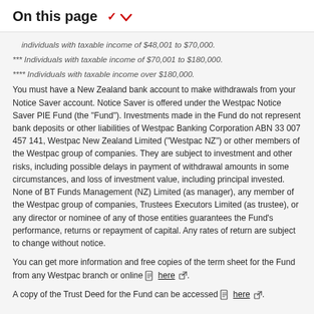On this page
individuals with taxable income of $48,001 to $70,000.
*** Individuals with taxable income of $70,001 to $180,000.
**** Individuals with taxable income over $180,000.
You must have a New Zealand bank account to make withdrawals from your Notice Saver account. Notice Saver is offered under the Westpac Notice Saver PIE Fund (the "Fund"). Investments made in the Fund do not represent bank deposits or other liabilities of Westpac Banking Corporation ABN 33 007 457 141, Westpac New Zealand Limited ("Westpac NZ") or other members of the Westpac group of companies. They are subject to investment and other risks, including possible delays in payment of withdrawal amounts in some circumstances, and loss of investment value, including principal invested. None of BT Funds Management (NZ) Limited (as manager), any member of the Westpac group of companies, Trustees Executors Limited (as trustee), or any director or nominee of any of those entities guarantees the Fund's performance, returns or repayment of capital. Any rates of return are subject to change without notice.
You can get more information and free copies of the term sheet for the Fund from any Westpac branch or online here.
A copy of the Trust Deed for the Fund can be accessed here.